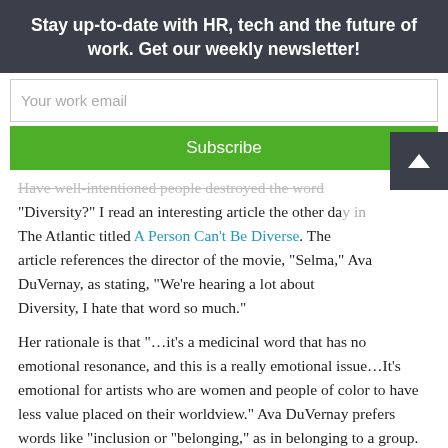Stay up-to-date with HR, tech and the future of work. Get our weekly newsletter!
Your work email
Subscribe
Have well-intentioned people destroyed the word “Diversity?” I read an interesting article the other day in The Atlantic titled A Person Can’t Be Diverse. The article references the director of the movie, “Selma,” Ava DuVernay, as stating, “We’re hearing a lot about Diversity, I hate that word so much.”
Her rationale is that “...it’s a medicinal word that has no emotional resonance, and this is a really emotional issue...It’s emotional for artists who are women and people of color to have less value placed on their worldview.” Ava DuVernay prefers words like “inclusion or “belonging,” as in belonging to a group.